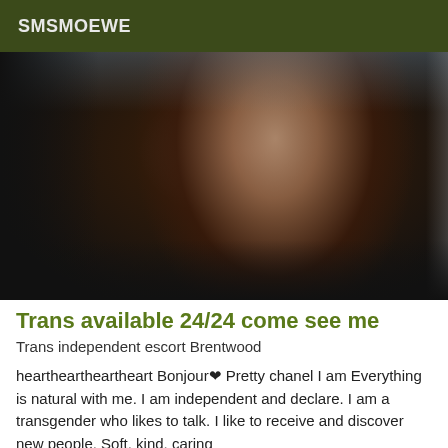SMSMOEWE
[Figure (photo): A dark photograph showing a hand against a dark background]
Trans available 24/24 come see me
Trans independent escort Brentwood
hearthearthearthearBonjour❤ Pretty chanel I am Everything is natural with me. I am independent and declare. I am a transgender who likes to talk. I like to receive and discover new people. Soft, kind, caring